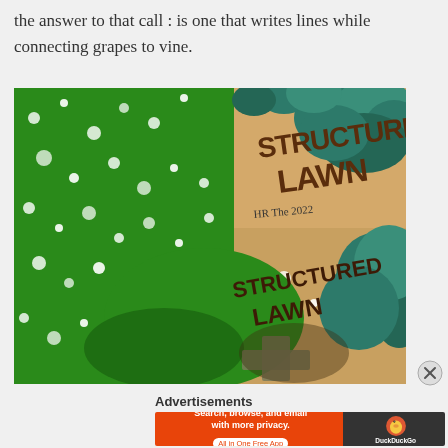the answer to that call : is one that writes lines while connecting grapes to vine.
[Figure (photo): A collage image showing green glitter and clover/bush foliage overlaid on a sandy/cardboard background. Text 'STRUCTURED LAWN' appears in dark handwritten letters in the upper right area, with a date signature below it. Another 'STRUCTURED LAWN' text appears in the lower center, with a pencil sketch of a cross/plus shape below it. Trees are visible on the right side.]
Advertisements
[Figure (screenshot): DuckDuckGo advertisement banner: red/orange left side saying 'Search, browse, and email with more privacy. All in One Free App' and dark right side with DuckDuckGo logo and duck icon.]